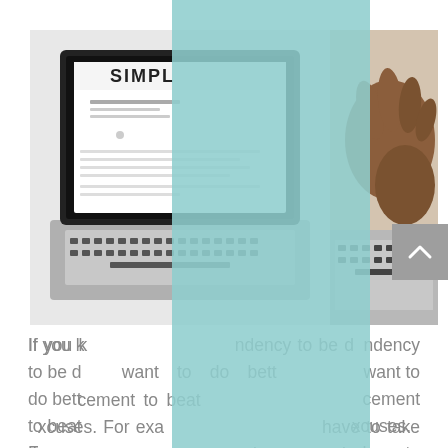[Figure (photo): Two overlapping photos: left shows a laptop with a webpage titled 'SIMPL...' visible on screen; right shows a person's hands typing on a keyboard. A teal/mint colored vertical band overlays the center of both photos, partially obscuring them.]
If you k[now you have a te]ndency to be d[istracted and you ]want to do bett[er, use positive reinfor]cement to beat [the habit and make fewer e]xcuses. For exa[mple, if you always ]have to take th[e bus because you're ]too lazy to wal[k, reward yourself for going] to the comple[te walk and treat yourself] out for